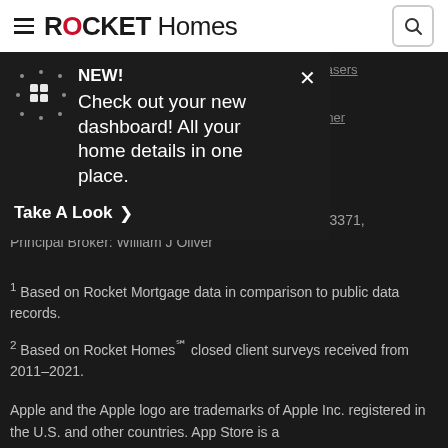ROCKET Homes
[Figure (screenshot): Rocket Homes website header with logo and hamburger menu, white background]
NEW! Check out your new dashboard! All your home details in one place.
Take A Look >
New York Standardized Operating Procedure for Purchasers of Real Estate Pursuant to Real Property Law 442-H
TREC: Information about brokerage services, Consumer protection notice
California DRE #01804478 | Hawaii License # RB-23371, Principal Broker: William J Oliver
1 Based on Rocket Mortgage data in comparison to public data records.
2 Based on Rocket Homes℠ closed client surveys received from 2011–2021.
Apple and the Apple logo are trademarks of Apple Inc. registered in the U.S. and other countries. App Store is a